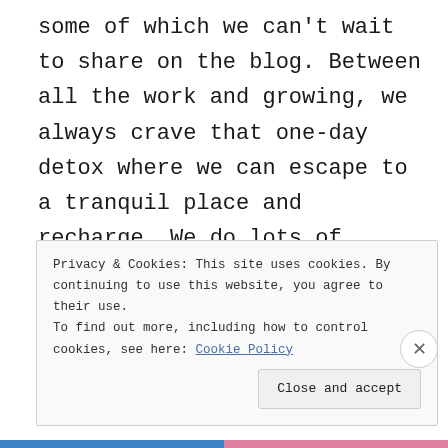some of which we can't wait to share on the blog. Between all the work and growing, we always crave that one-day detox where we can escape to a tranquil place and recharge. We do lots of nothings and that is sometimes all you need. Where's your detox place? Continue reading →
Privacy & Cookies: This site uses cookies. By continuing to use this website, you agree to their use. To find out more, including how to control cookies, see here: Cookie Policy
Close and accept